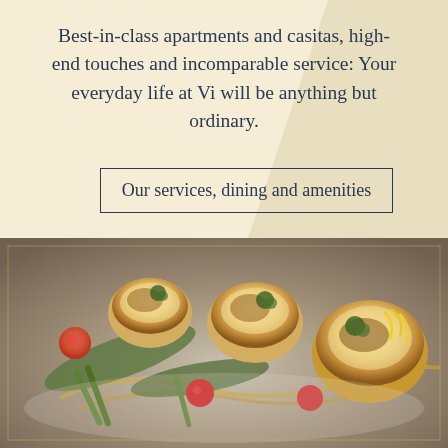Best-in-class apartments and casitas, high-end touches and incomparable service: Your everyday life at Vi will be anything but ordinary.
Our services, dining and amenities
[Figure (photo): Close-up photograph of seared scallops plated with asparagus, cherry tomatoes, herb garnish, and decorative yellow citrus zest strips on a white plate with sauce swirls.]